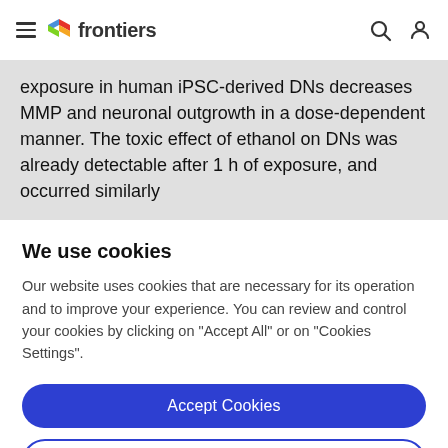frontiers
exposure in human iPSC-derived DNs decreases MMP and neuronal outgrowth in a dose-dependent manner. The toxic effect of ethanol on DNs was already detectable after 1 h of exposure, and occurred similarly
We use cookies
Our website uses cookies that are necessary for its operation and to improve your experience. You can review and control your cookies by clicking on "Accept All" or on "Cookies Settings".
Accept Cookies
Cookies Settings